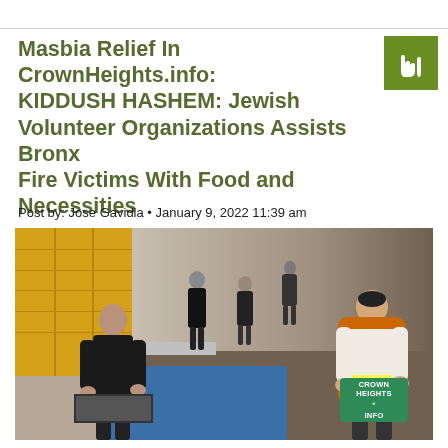Masbia Relief In CrownHeights.info: KIDDUSH HASHEM: Jewish Volunteer Organizations Assists Bronx Fire Victims With Food and Necessities
Post by: Jose Gavidia • January 9, 2022 11:39 am
[Figure (photo): Volunteers distributing food and supplies to Bronx fire victims in a school gymnasium hallway with yellow lockers. A man in an orange emergency vest works alongside others at a table stacked with blue cups and trays of food. The CrownHeights.info logo badge appears in the lower right corner.]